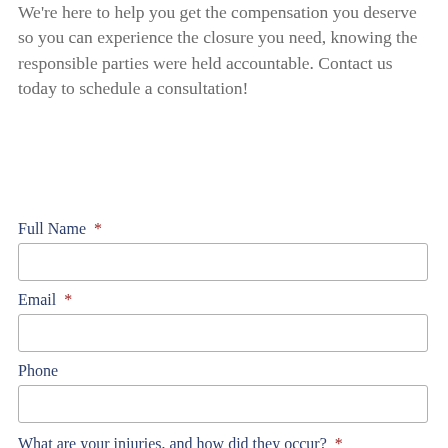We're here to help you get the compensation you deserve so you can experience the closure you need, knowing the responsible parties were held accountable. Contact us today to schedule a consultation!
Full Name *
Email *
Phone
What are your injuries, and how did they occur? *